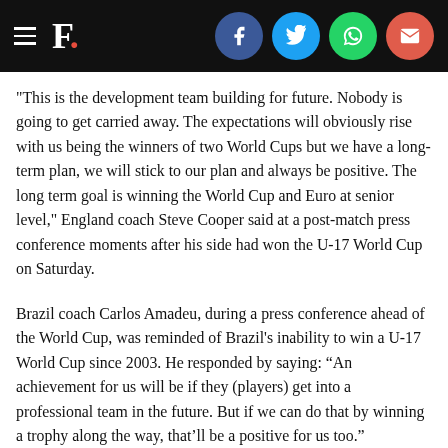F. [logo with social share buttons: Facebook, Twitter, WhatsApp, Email]
"This is the development team building for future. Nobody is going to get carried away. The expectations will obviously rise with us being the winners of two World Cups but we have a long-term plan, we will stick to our plan and always be positive. The long term goal is winning the World Cup and Euro at senior level," England coach Steve Cooper said at a post-match press conference moments after his side had won the U-17 World Cup on Saturday.
Brazil coach Carlos Amadeu, during a press conference ahead of the World Cup, was reminded of Brazil’s inability to win a U-17 World Cup since 2003. He responded by saying: “An achievement for us will be if they (players) get into a professional team in the future. But if we can do that by winning a trophy along the way, that’ll be a positive for us too.”
Brazil were eliminated in the semi-final by England